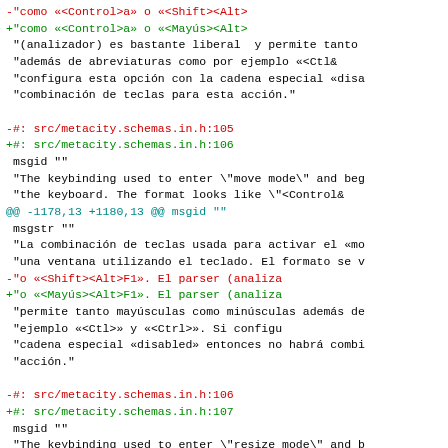diff output showing changes in metacity.schemas.in.h translation file (Spanish)